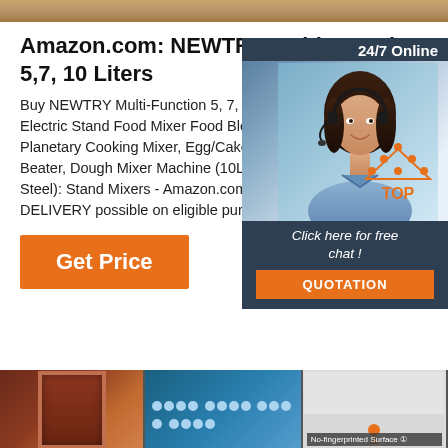[Figure (photo): Decorative top banner image with warm brown/golden tones]
Amazon.com: NEWTRY Multi-Function 5,7, 10 Liters
Buy NEWTRY Multi-Function 5, 7, 10 Electric Stand Food Mixer Food Blend Planetary Cooking Mixer, Egg/Cake/M Beater, Dough Mixer Machine (10L Sta Steel): Stand Mixers - Amazon.com FR DELIVERY possible on eligible purcha
[Figure (photo): Customer service chat widget with agent photo, '24/7 Online' header, 'Click here for free chat!' text, and orange QUOTATION button]
[Figure (other): Orange Get Price button]
[Figure (other): TOP back-to-top button icon with orange dot triangle above 'TOP' text]
[Figure (photo): Bottom footer strip showing three product thumbnail images including a dark cabinet, blue panel with dots, and a light gray surface with 'No-fingerprinted Surface' label]